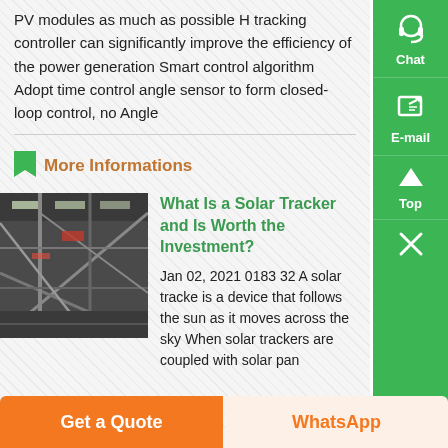PV modules as much as possible H tracking controller can significantly improve the efficiency of the power generation Smart control algorithm Adopt time control angle sensor to form closed-loop control, no Angle
More Informations
[Figure (photo): Industrial building interior with steel scaffolding and structures]
What Is a Solar Tracker and Is Worth the Investment?
Jan 02, 2021 0183 32 A solar tracker is a device that follows the sun as it moves across the sky When solar trackers are coupled with solar pan